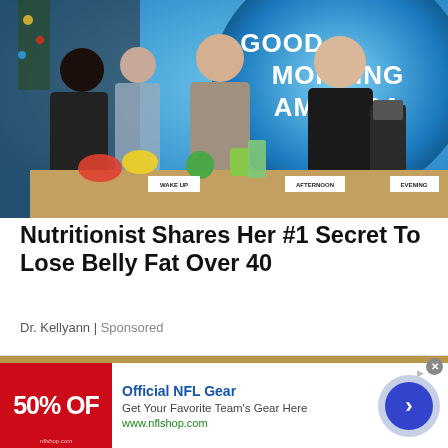[Figure (photo): TV show set of Good Morning America with four people around a food demonstration table with smoothies, fruits, and a blender. A large 'GOOD MORNING AMERICA' logo is visible in the background. Signs on table read WAKE UP, MORNING, AFTERNOON, EVENING.]
Nutritionist Shares Her #1 Secret To Lose Belly Fat Over 40
Dr. Kellyann | Sponsored
[Figure (infographic): Advertisement banner for Official NFL Gear. Red logo on left showing '50% OFF'. Text reads: Official NFL Gear - Get Your Favorite Team's Gear Here - www.nflshop.com. Blue arrow button on right.]